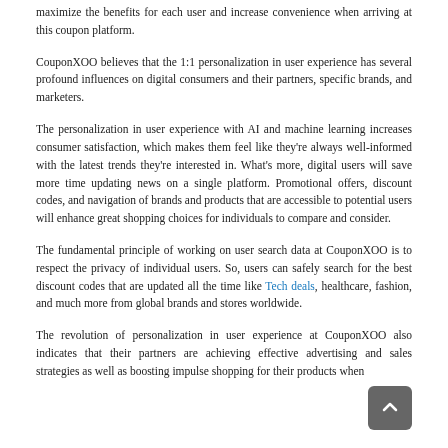maximize the benefits for each user and increase convenience when arriving at this coupon platform.
CouponXOO believes that the 1:1 personalization in user experience has several profound influences on digital consumers and their partners, specific brands, and marketers.
The personalization in user experience with AI and machine learning increases consumer satisfaction, which makes them feel like they're always well-informed with the latest trends they're interested in. What's more, digital users will save more time updating news on a single platform. Promotional offers, discount codes, and navigation of brands and products that are accessible to potential users will enhance great shopping choices for individuals to compare and consider.
The fundamental principle of working on user search data at CouponXOO is to respect the privacy of individual users. So, users can safely search for the best discount codes that are updated all the time like Tech deals, healthcare, fashion, and much more from global brands and stores worldwide.
The revolution of personalization in user experience at CouponXOO also indicates that their partners are achieving effective advertising and sales strategies as well as boosting impulse shopping for their products when